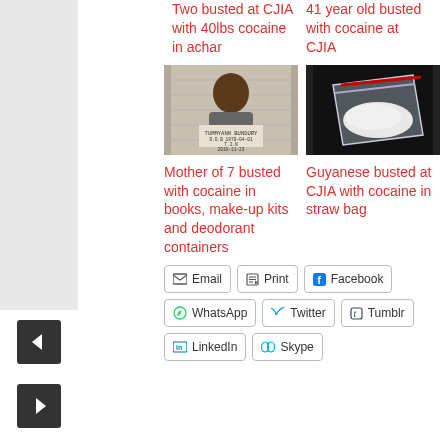Two busted at CJIA with 40lbs cocaine in achar
41 year old busted with cocaine at CJIA
[Figure (photo): Mugshot of Tummyann Bundury, D.O.B 1978-04-01, T.I.N, 2010-11-23]
[Figure (photo): Close-up photo of a clear plastic ziplock bag containing white powder (cocaine) with a red stripe on black background]
Mother of 7 busted with cocaine in books, make-up kits and deodorant containers
Guyanese busted at CJIA with cocaine in straw bag
Email | Print | Facebook | WhatsApp | Twitter | Tumblr | LinkedIn | Skype